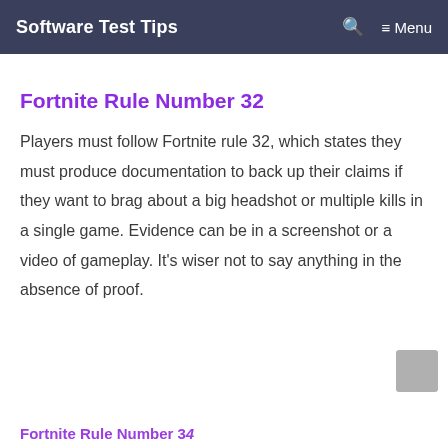Software Test Tips   🔍   ≡ Menu
Fortnite Rule Number 32
Players must follow Fortnite rule 32, which states they must produce documentation to back up their claims if they want to brag about a big headshot or multiple kills in a single game. Evidence can be in a screenshot or a video of gameplay. It's wiser not to say anything in the absence of proof.
Fortnite Rule Number 34